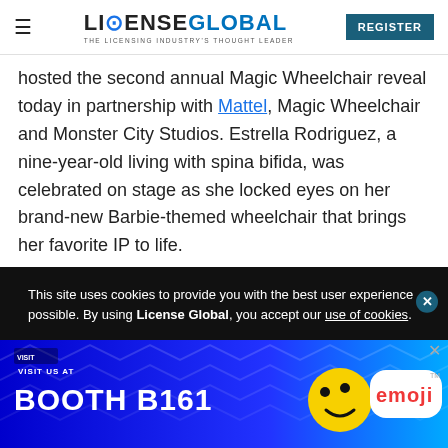LICENSE GLOBAL — THE LICENSING INDUSTRY'S THOUGHT LEADER | REGISTER
hosted the second annual Magic Wheelchair reveal today in partnership with Mattel, Magic Wheelchair and Monster City Studios. Estrella Rodriguez, a nine-year-old living with spina bifida, was celebrated on stage as she locked eyes on her brand-new Barbie-themed wheelchair that brings her favorite IP to life.
Magic Wheelchair, a nonprofit organization that works to provide custom youth wheelchairs, partnered with
This site uses cookies to provide you with the best user experience possible. By using License Global, you accept our use of cookies.
[Figure (photo): Advertisement banner: emoji brand, Visit us at Booth B161, blue background with zigzag pattern and cartoon characters]